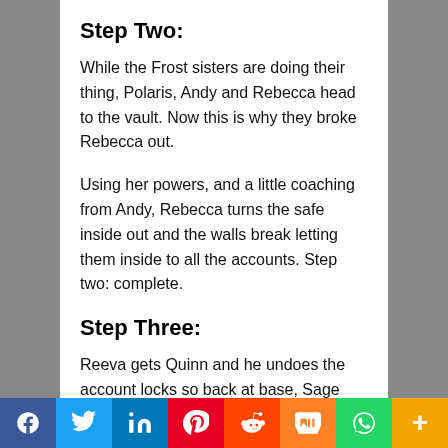Step Two:
While the Frost sisters are doing their thing, Polaris, Andy and Rebecca head to the vault. Now this is why they broke Rebecca out.
Using her powers, and a little coaching from Andy, Rebecca turns the safe inside out and the walls break letting them inside to all the accounts. Step two: complete.
Step Three:
Reeva gets Quinn and he undoes the account locks so back at base, Sage can transfer all the money safely to the account of The Inner Circle. Step three: complete.
f  Twitter  in  Pinterest  Reddit  Mix  WhatsApp  +